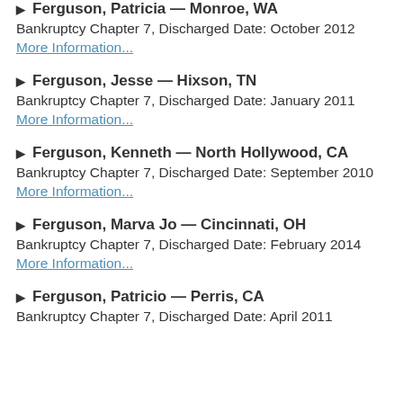Ferguson, Patricia — Monroe, WA
Bankruptcy Chapter 7, Discharged Date: October 2012
More Information...
Ferguson, Jesse — Hixson, TN
Bankruptcy Chapter 7, Discharged Date: January 2011
More Information...
Ferguson, Kenneth — North Hollywood, CA
Bankruptcy Chapter 7, Discharged Date: September 2010
More Information...
Ferguson, Marva Jo — Cincinnati, OH
Bankruptcy Chapter 7, Discharged Date: February 2014
More Information...
Ferguson, Patricio — Perris, CA
Bankruptcy Chapter 7, Discharged Date: April 2011